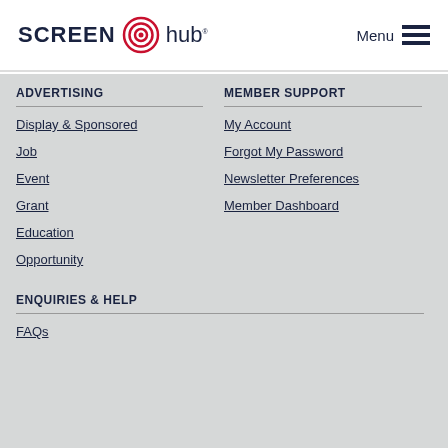SCREEN hub - Menu
ADVERTISING
Display & Sponsored
Job
Event
Grant
Education
Opportunity
MEMBER SUPPORT
My Account
Forgot My Password
Newsletter Preferences
Member Dashboard
ENQUIRIES & HELP
FAQs